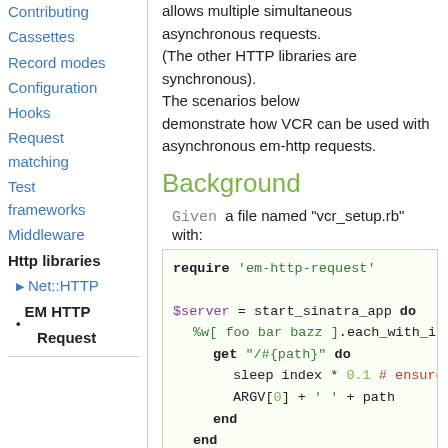Contributing
Cassettes
Record modes
Configuration
Hooks
Request matching
Test frameworks
Middleware
Http libraries
> Net::HTTP
• EM HTTP Request
allows multiple simultaneous asynchronous requests.
(The other HTTP libraries are synchronous). The scenarios below demonstrate how VCR can be used with asynchronous em-http requests.
Background
Given a file named "vcr_setup.rb" with:
require 'em-http-request'

$server = start_sinatra_app do
  %w[ foo bar bazz ].each_with_ind
    get "/#{path}" do
      sleep index * 0.1 # ensure t
      ARGV[0] + ' ' + path
    end
  end
end

require 'vcr'